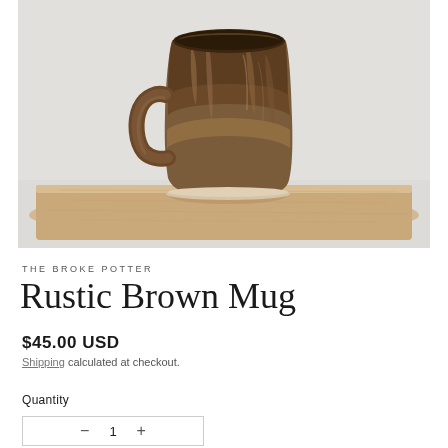[Figure (photo): A rustic brown ceramic mug with a dark glaze, sitting on a light wooden cutting board against a light grey/white background.]
THE BROKE POTTER
Rustic Brown Mug
$45.00 USD
Shipping calculated at checkout.
Quantity